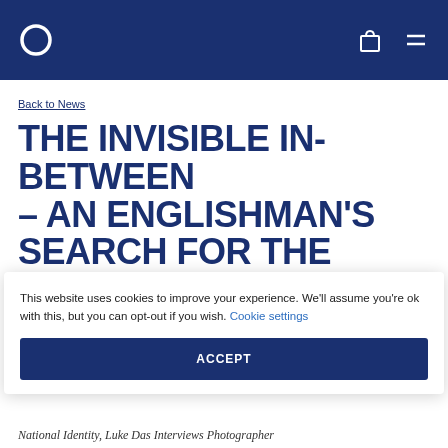Back to News
THE INVISIBLE IN-BETWEEN – AN ENGLISHMAN'S SEARCH FOR THE IRISH BORDER
This website uses cookies to improve your experience. We'll assume you're ok with this, but you can opt-out if you wish. Cookie settings
ACCEPT
National Identity, Luke Das interviews Photographer